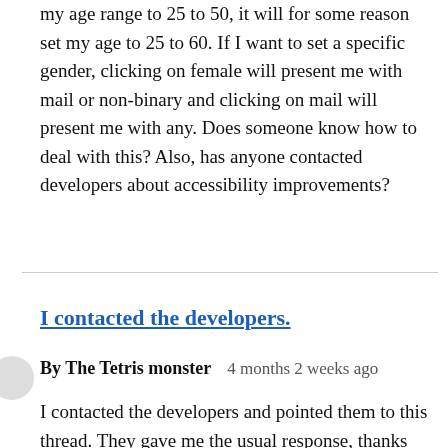my age range to 25 to 50, it will for some reason set my age to 25 to 60. If I want to set a specific gender, clicking on female will present me with mail or non-binary and clicking on mail will present me with any. Does someone know how to deal with this? Also, has anyone contacted developers about accessibility improvements?
I contacted the developers.
By The Tetris monster   4 months 2 weeks ago
I contacted the developers and pointed them to this thread. They gave me the usual response, thanks for your feedback, we've sent the comments to our development team and we